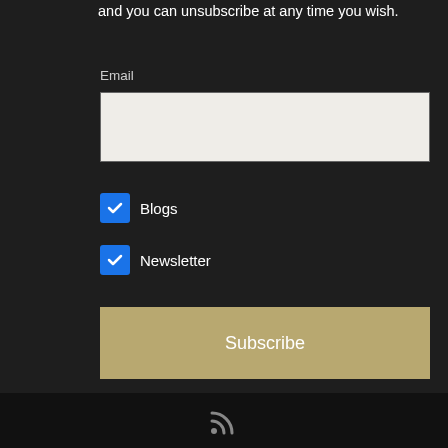and you can unsubscribe at any time you wish.
Email
Blogs
Newsletter
Subscribe
Share this page
Email me at:
info@rob-gregory.com
[Figure (infographic): Social sharing icons: Facebook, Twitter, and a plus/share button, along with a back-to-top arrow button and RSS feed icon in footer]